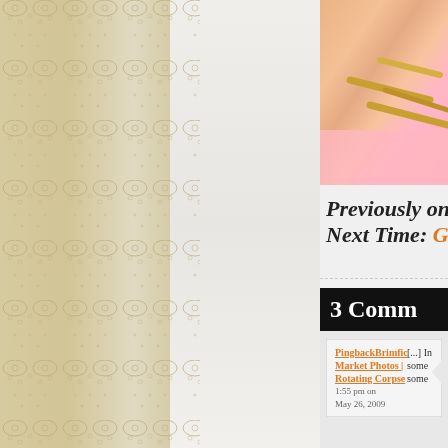[Figure (photo): Lace and fabric texture photo — cream/ivory lace border on left, white fabric on right]
[Figure (photo): Gold rack with pink background, partial view in upper right]
Previously on
Next Time: G
3 Comm
PingbackBrimfic
Market Photos |
Rotating Corpse
1:55 pm on
May 26, 2009
[...] In some some